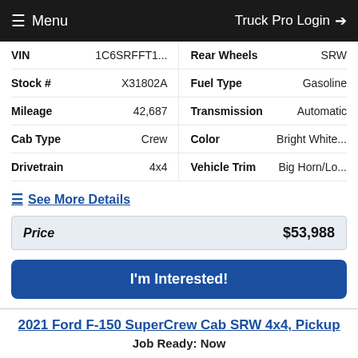Menu   Truck Pro Login
| VIN | 1C6SRFFT1... | Rear Wheels | SRW |
| Stock # | X31802A | Fuel Type | Gasoline |
| Mileage | 42,687 | Transmission | Automatic |
| Cab Type | Crew | Color | Bright White... |
| Drivetrain | 4x4 | Vehicle Trim | Big Horn/Lo... |
See More Details
| Price | $53,988 |
| --- | --- |
I'm Interested!
2021 Ford F-150 SuperCrew Cab SRW 4x4, Pickup
Job Ready: Now